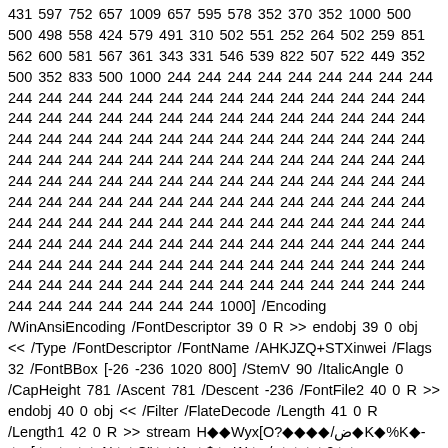431 597 752 657 1009 657 595 578 352 370 352 1000 500 500 498 558 424 579 491 310 502 551 252 264 502 259 851 562 600 581 567 361 343 331 546 539 822 507 522 449 352 500 352 833 500 1000 244 244 244 244 244 244 244 244 244 244 244 244 244 244 244 244 244 244 244 244 244 244 244 244 244 244 244 244 244 244 244 244 244 244 244 244 244 244 244 244 244 244 244 244 244 244 244 244 244 244 244 244 244 244 244 244 244 244 244 244 244 244 244 244 244 244 244 244 244 244 244 244 244 244 244 244 244 244 244 244 244 244 244 244 244 244 244 244 244 244 244 244 244 244 244 244 244 244 244 244 244 244 244 244 244 244 244 244 244 244 244 244 244 244 244 244 244 244 244 244 244 244 244 244 244 244 244 244 244 244 244 244 244 244 244 244 244 244 244 244 244 244 244 244 1000] /Encoding /WinAnsiEncoding /FontDescriptor 39 0 R >> endobj 39 0 obj << /Type /FontDescriptor /FontName /AHKJZQ+STXinwei /Flags 32 /FontBBox [-26 -236 1020 800] /StemV 90 /ItalicAngle 0 /CapHeight 781 /Ascent 781 /Descent -236 /FontFile2 40 0 R >> endobj 40 0 obj << /Filter /FlateDecode /Length 41 0 R /Length1 42 0 R >> stream H◆◆Wyx[O?◆◆◆◆/ض◆K◆%K◆-◆-[◆q◆x◆◆;N◆◆C"◆◆Xq◆$◆c'1!◆a/ ◆◆◆◆0◆◆ ◆P◆3m◆@◆◆-t◆◆NI◆◆◆◆C◆◆◆◆◆◆6◆◆@g◆/ ◆◆◆◆$;I◆◆◆◆{◆◆◆◆;◆}O"◆◆rh? ◆◆:2◆◆◆◆o◆◆s◆Hx|d◆◆◆◆◆◆I"6◆◆◆◆◆◆◆◆ ◆[◆◆GꞼ]5v◆◆◆-DI◆◆%¹L◆◆7_◆◆◆◆#*< ◆◆ 0t2◆◆H_◆◆tbrfO◆u◆!